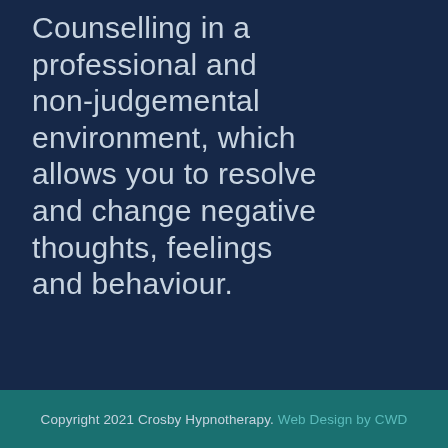Counselling in a professional and non-judgemental environment, which allows you to resolve and change negative thoughts, feelings and behaviour.
Copyright 2021 Crosby Hypnotherapy. Web Design by CWD